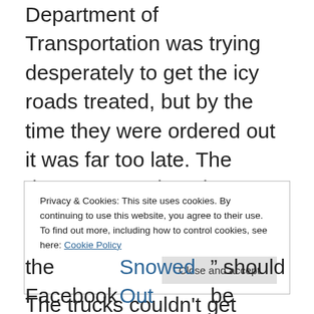Department of Transportation was trying desperately to get the icy roads treated, but by the time they were ordered out it was far too late. The damage was done because the freeways had become totally blocked within two hours of the first snowflake. The trucks couldn't get through, and it just got worse and worse as the day and night went on. I've lived in this city almost my whole life, and I have never seen anything like this. The footage taken from the news helicopters made it look like CGI from an apocalypse movie.
Privacy & Cookies: This site uses cookies. By continuing to use this website, you agree to their use. To find out more, including how to control cookies, see here: Cookie Policy
the Facebook page “Snowed Out Atlanta” should be given